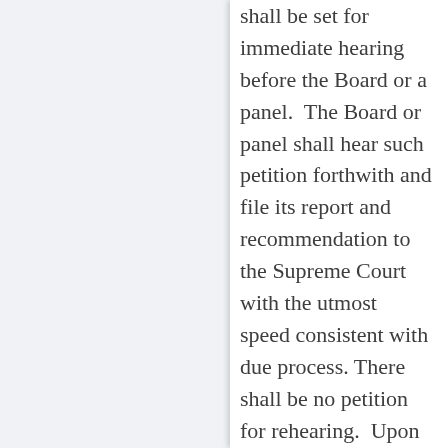shall be set for immediate hearing before the Board or a panel.  The Board or panel shall hear such petition forthwith and file its report and recommendation to the Supreme Court with the utmost speed consistent with due process. There shall be no petition for rehearing.  Upon receipt of the foregoing report, the Court may modify its order if appropriate or